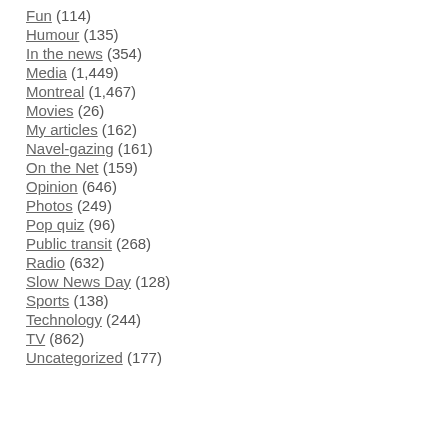Fun (114)
Humour (135)
In the news (354)
Media (1,449)
Montreal (1,467)
Movies (26)
My articles (162)
Navel-gazing (161)
On the Net (159)
Opinion (646)
Photos (249)
Pop quiz (96)
Public transit (268)
Radio (632)
Slow News Day (128)
Sports (138)
Technology (244)
TV (862)
Uncategorized (177)